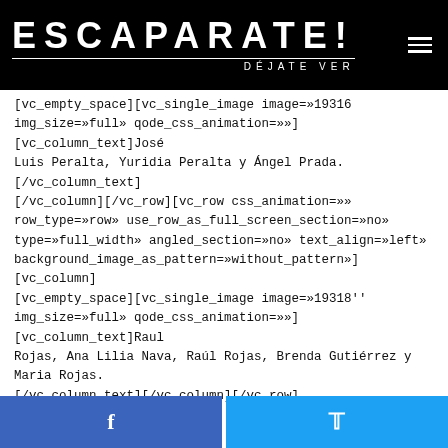ESCAPARATE! DÉJATE VER
[vc_empty_space][vc_single_image image=»19316 img_size=»full» qode_css_animation=»»][vc_column_text]José Luis Peralta, Yuridia Peralta y Ángel Prada.[/vc_column_text][/vc_column][/vc_row][vc_row css_animation=»» row_type=»row» use_row_as_full_screen_section=»no» type=»full_width» angled_section=»no» text_align=»left» background_image_as_pattern=»without_pattern»][vc_column][vc_empty_space][vc_single_image image=»19318'' img_size=»full» qode_css_animation=»»][vc_column_text]Raul Rojas, Ana Lilia Nava, Raúl Rojas, Brenda Gutiérrez y Maria Rojas.[/vc_column_text][/vc_column][/vc_row]
[Figure (other): Facebook share button (blue)]
[Figure (other): Twitter share button (light blue)]